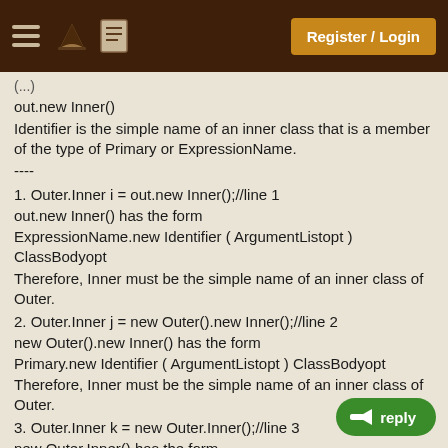Register / Login
out.new Inner()
Identifier is the simple name of an inner class that is a member of the type of Primary or ExpressionName.
----
1. Outer.Inner i = out.new Inner();//line 1
out.new Inner() has the form
ExpressionName.new Identifier ( ArgumentListopt ) ClassBodyopt
Therefore, Inner must be the simple name of an inner class of Outer.
2. Outer.Inner j = new Outer().new Inner();//line 2
new Outer().new Inner() has the form
Primary.new Identifier ( ArgumentListopt ) ClassBodyopt
Therefore, Inner must be the simple name of an inner class of Outer.
3. Outer.Inner k = new Outer.Inner();//line 3
new Outer.Inner() has the form
new ClassOrInterfaceType ( ArgumentListopt ) ClassBodyopt